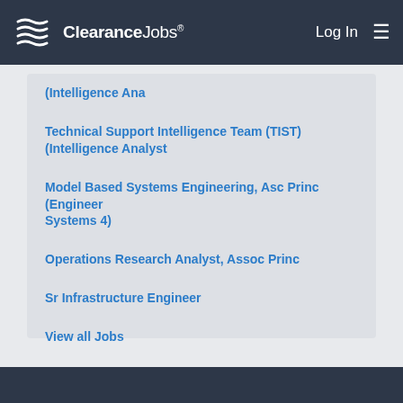ClearanceJobs® — Log In [menu]
(Intelligence Ana
Technical Support Intelligence Team (TIST) (Intelligence Analyst
Model Based Systems Engineering, Asc Princ (Engineer Systems 4)
Operations Research Analyst, Assoc Princ
Sr Infrastructure Engineer
View all Jobs